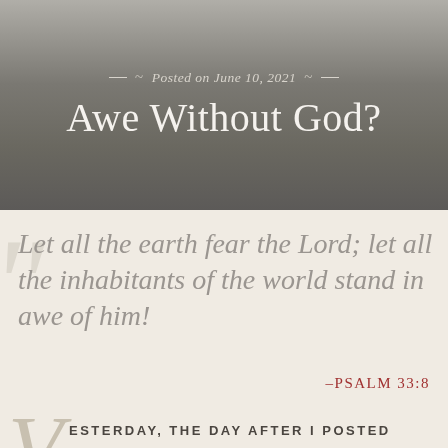Posted on June 10, 2021
Awe Without God?
Let all the earth fear the Lord; let all the inhabitants of the world stand in awe of him!
–PSALM 33:8
ESTERDAY, THE DAY AFTER I POSTED